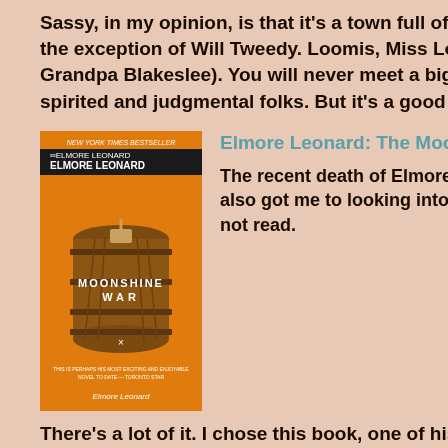Sassy, in my opinion, is that it's a town full of people you don't like (with the exception of Will Tweedy. Loomis, Miss Love, and to a lesser degree Grandpa Blakeslee). You will never meet a bigger group of mean spirited and judgmental folks. But it's a good story. I liked it. (***)
[Figure (photo): Book cover of 'The Moonshine War' by Elmore Leonard, orange background with an illustration of a wooden barrel]
Elmore Leonard: The Moonshine War: A Novel
The recent death of Elmore Leonard made me sad and also got me to looking into some of his work that I had not read. There's a lot of it. I chose this book, one of his earlier works. It is set during Prohibition and concerns a small eastern Kentucky community whose main industry is moonshining. Son Martin, the novel's hero, is your typical Leonard tough-guy--reminded me a lot of Raylan Givens of Leonard's tv